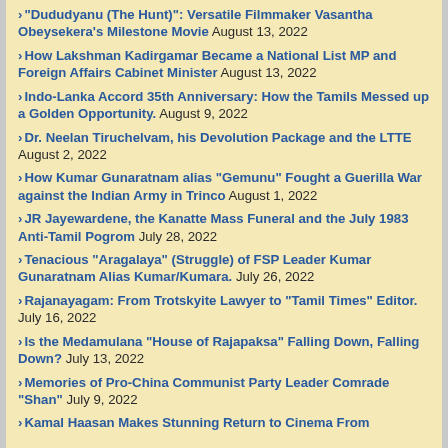"Dududyanu (The Hunt)": Versatile Filmmaker Vasantha Obeysekera's Milestone Movie August 13, 2022
How Lakshman Kadirgamar Became a National List MP and Foreign Affairs Cabinet Minister August 13, 2022
Indo-Lanka Accord 35th Anniversary: How the Tamils Messed up a Golden Opportunity. August 9, 2022
Dr. Neelan Tiruchelvam, his Devolution Package and the LTTE August 2, 2022
How Kumar Gunaratnam alias "Gemunu" Fought a Guerilla War against the Indian Army in Trinco August 1, 2022
JR Jayewardene, the Kanatte Mass Funeral and the July 1983 Anti-Tamil Pogrom July 28, 2022
Tenacious "Aragalaya" (Struggle) of FSP Leader Kumar Gunaratnam Alias Kumar/Kumara. July 26, 2022
Rajanayagam: From Trotskyite Lawyer to "Tamil Times" Editor. July 16, 2022
Is the Medamulana "House of Rajapaksa" Falling Down, Falling Down? July 13, 2022
Memories of Pro-China Communist Party Leader Comrade "Shan" July 9, 2022
Kamal Haasan Makes Stunning Return to Cinema From